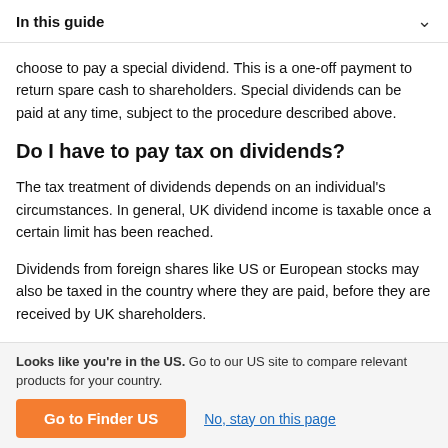In this guide
choose to pay a special dividend. This is a one-off payment to return spare cash to shareholders. Special dividends can be paid at any time, subject to the procedure described above.
Do I have to pay tax on dividends?
The tax treatment of dividends depends on an individual's circumstances. In general, UK dividend income is taxable once a certain limit has been reached.
Dividends from foreign shares like US or European stocks may also be taxed in the country where they are paid, before they are received by UK shareholders.
Looks like you're in the US. Go to our US site to compare relevant products for your country.
Go to Finder US
No, stay on this page